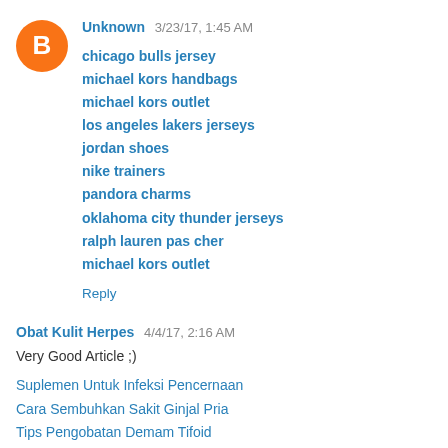Unknown  3/23/17, 1:45 AM
chicago bulls jersey
michael kors handbags
michael kors outlet
los angeles lakers jerseys
jordan shoes
nike trainers
pandora charms
oklahoma city thunder jerseys
ralph lauren pas cher
michael kors outlet
Reply
Obat Kulit Herpes  4/4/17, 2:16 AM
Very Good Article ;)
Suplemen Untuk Infeksi Pencernaan
Cara Sembuhkan Sakit Ginjal Pria
Tips Pengobatan Demam Tifoid
Pengobatan Untuk Sinusitis Kronis